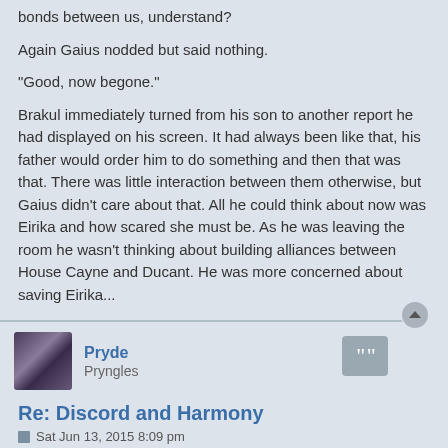bonds between us, understand?
Again Gaius nodded but said nothing.
"Good, now begone."
Brakul immediately turned from his son to another report he had displayed on his screen. It had always been like that, his father would order him to do something and then that was that. There was little interaction between them otherwise, but Gaius didn't care about that. All he could think about now was Eirika and how scared she must be. As he was leaving the room he wasn't thinking about building alliances between House Cayne and Ducant. He was more concerned about saving Eirika...
Pryde
Pryngles
Re: Discord and Harmony
Sat Jun 13, 2015 8:09 pm
There was a knock at the door and Daisy peered warily through the peephole before opening it. On the other side stood Blake, dripping from head to toe. "Some rain, huh," he said with a shrug. Daisy gave him a half smile then stepped aside to allow him to enter. Blake stepped past her into Daisy's tiny studio apartment and looked directly at Kriel still tied to a